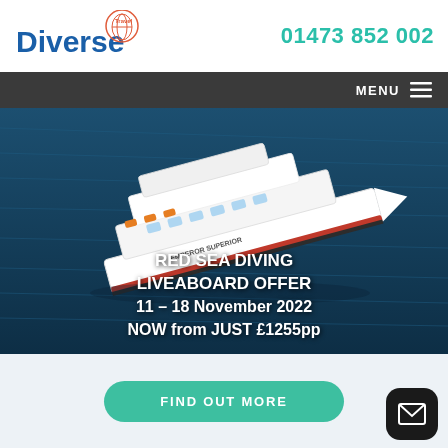[Figure (logo): Diverse Travel logo with blue bold text 'Diverse' and a circular travel badge graphic]
01473 852 002
MENU
[Figure (photo): Aerial view of a large white liveaboard dive yacht named Emperor Superior sailing on dark blue sea water]
RED SEA DIVING LIVEABOARD OFFER 11 – 18 November 2022 NOW from JUST £1255pp
FIND OUT MORE